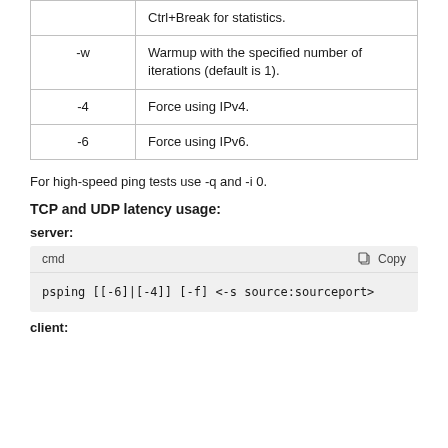| Parameter | Description |
| --- | --- |
|  | Ctrl+Break for statistics. |
| -w | Warmup with the specified number of iterations (default is 1). |
| -4 | Force using IPv4. |
| -6 | Force using IPv6. |
For high-speed ping tests use -q and -i 0.
TCP and UDP latency usage:
server:
[Figure (screenshot): Code block showing: cmd | Copy
psping [[-6]|[-4]] [-f] <-s source:sourceport>]
client: